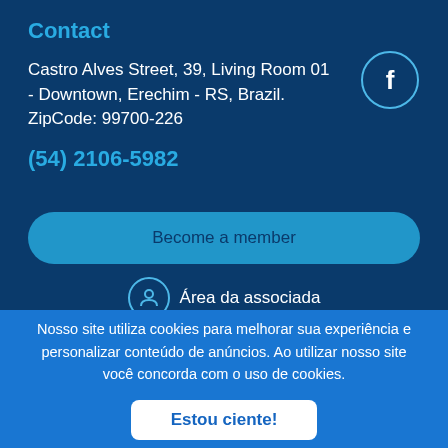Contact
Castro Alves Street, 39, Living Room 01 - Downtown, Erechim - RS, Brazil.
ZipCode: 99700-226
(54) 2106-5982
[Figure (logo): Facebook icon inside a circle outline]
Become a member
Área da associada
Nosso site utiliza cookies para melhorar sua experiência e personalizar conteúdo de anúncios. Ao utilizar nosso site você concorda com o uso de cookies.
Estou ciente!